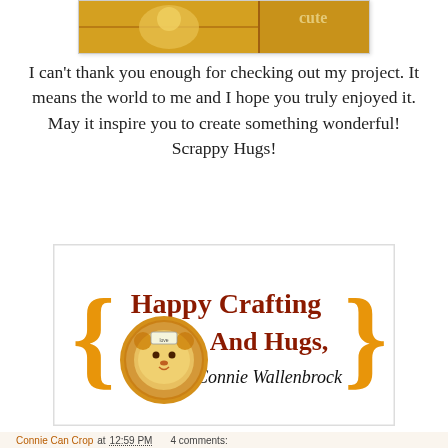[Figure (photo): Partial view of a craft project image showing yellow/orange textures with 'cute' text visible]
I can't thank you enough for checking out my project. It means the world to me and I hope you truly enjoyed it. May it inspire you to create something wonderful! Scrappy Hugs!
[Figure (illustration): Happy Crafting And Hugs banner with orange curly braces, a lion character in a circle, and text 'Happy Crafting And Hugs, Connie Wallenbrock']
Connie Can Crop at 12:59 PM   4 comments:
Share